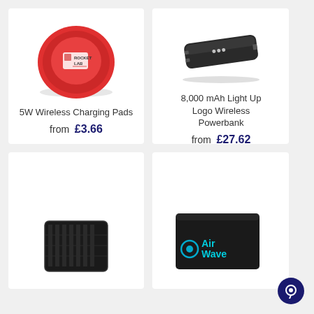[Figure (photo): Red circular wireless charging pad with Rocket Lab logo]
5W Wireless Charging Pads
from £3.66
[Figure (photo): Black rectangular wireless powerbank with logo on top]
8,000 mAh Light Up Logo Wireless Powerbank
from £27.62
[Figure (photo): Black solar powerbank partially visible]
[Figure (photo): Black AirWave branded device partially visible]